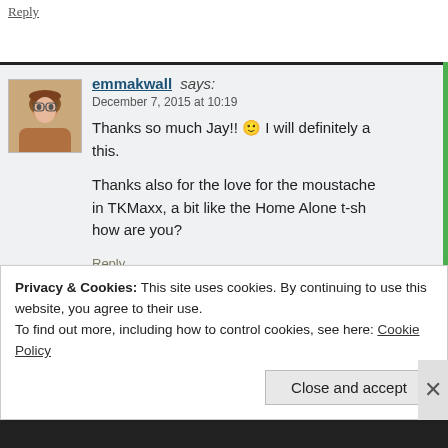Reply
emmakwall says:
December 7, 2015 at 10:19

Thanks so much Jay!! 🙂 I will definitely a... this.

Thanks also for the love for the moustache in TKMaxx, a bit like the Home Alone t-sh... how are you?
Reply
Privacy & Cookies: This site uses cookies. By continuing to use this website, you agree to their use.
To find out more, including how to control cookies, see here: Cookie Policy
Close and accept